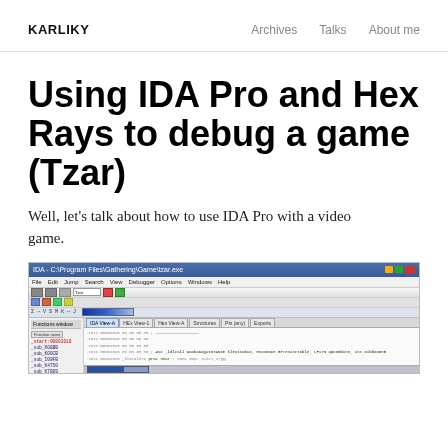KARLIKY    Archives    Talks    About me
Using IDA Pro and Hex Rays to debug a game (Tzar)
Well, let's talk about how to use IDA Pro with a video game.
[Figure (screenshot): IDA Pro / Hex-Rays debugger window showing disassembly of a game binary, with function list on the left and assembly code on the right]